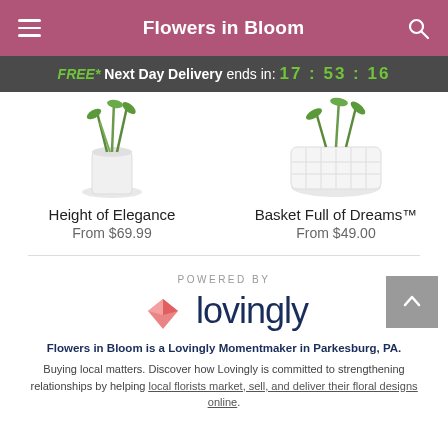Flowers in Bloom
FREE* Next Day Delivery ends in: 17 : 53 : 16
[Figure (photo): Product image of Height of Elegance floral arrangement in a clear glass vase with green stems]
Height of Elegance
From $69.99
[Figure (photo): Product image of Basket Full of Dreams floral arrangement in a white woven basket]
Basket Full of Dreams™
From $49.00
[Figure (logo): Powered by Lovingly logo with pink origami heart icon and dark blue Lovingly wordmark]
Flowers in Bloom is a Lovingly Momentmaker in Parkesburg, PA.
Buying local matters. Discover how Lovingly is committed to strengthening relationships by helping local florists market, sell, and deliver their floral designs online.